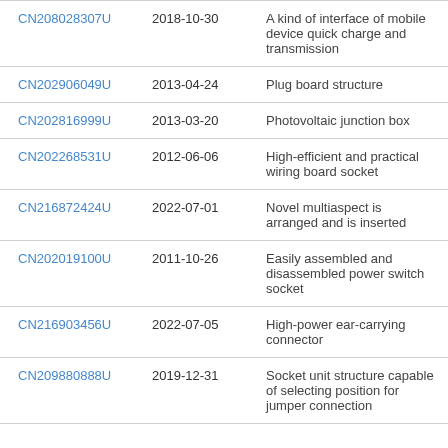| CN208028307U | 2018-10-30 | A kind of interface of mobile device quick charge and transmission |
| CN202906049U | 2013-04-24 | Plug board structure |
| CN202816999U | 2013-03-20 | Photovoltaic junction box |
| CN202268531U | 2012-06-06 | High-efficient and practical wiring board socket |
| CN216872424U | 2022-07-01 | Novel multiaspect is arranged and is inserted |
| CN202019100U | 2011-10-26 | Easily assembled and disassembled power switch socket |
| CN216903456U | 2022-07-05 | High-power ear-carrying connector |
| CN209880888U | 2019-12-31 | Socket unit structure capable of selecting position for jumper connection |